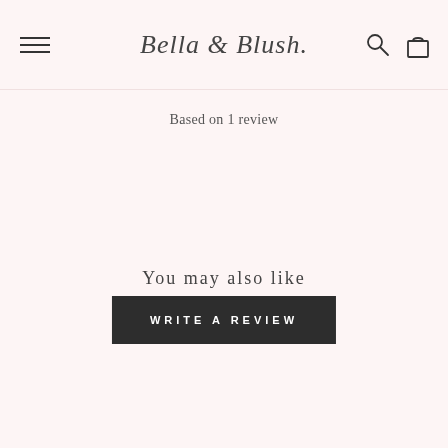Bella & Blush
Based on 1 review
WRITE A REVIEW
You may also like